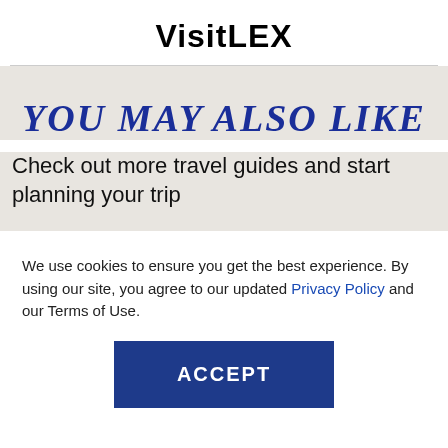VisitLEX
YOU MAY ALSO LIKE
Check out more travel guides and start planning your trip
We use cookies to ensure you get the best experience. By using our site, you agree to our updated Privacy Policy and our Terms of Use.
ACCEPT